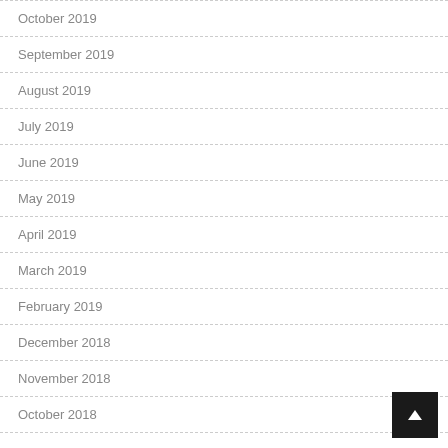October 2019
September 2019
August 2019
July 2019
June 2019
May 2019
April 2019
March 2019
February 2019
December 2018
November 2018
October 2018